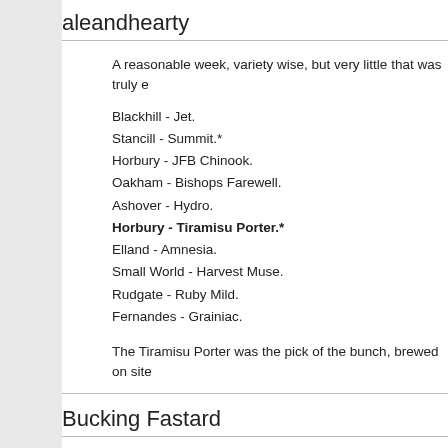aleandhearty
A reasonable week, variety wise, but very little that was truly e
Blackhill - Jet.
Stancill - Summit.*
Horbury - JFB Chinook.
Oakham - Bishops Farewell.
Ashover - Hydro.
Horbury - Tiramisu Porter.*
Elland - Amnesia.
Small World - Harvest Muse.
Rudgate - Ruby Mild.
Fernandes - Grainiac.
The Tiramisu Porter was the pick of the bunch, brewed on site
Bucking Fastard
Atherstone,Hertford and south west London,a decent week.
Oakham -- Citra *
Frothblowers -- Midland Red *
Church End -- Stout Coffin